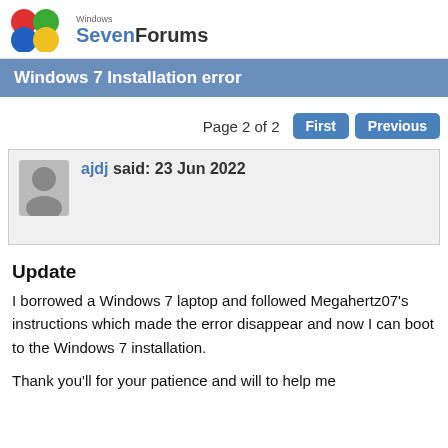Windows SevenForums
Windows 7 Installation error
Page 2 of 2  First  Previous
ajdj said: 23 Jun 2022
Update
I borrowed a Windows 7 laptop and followed Megahertz07's instructions which made the error disappear and now I can boot to the Windows 7 installation.
Thank you'll for your patience and will to help me